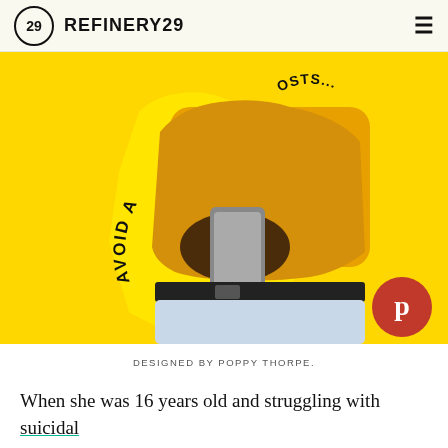REFINERY29
[Figure (photo): Person in yellow sweatshirt holding a smartphone against a bright yellow background. Text 'AVOID A...' and partial circular text visible. Yellow illustrated cutout shape behind the person. Pinterest button in bottom right corner.]
DESIGNED BY POPPY THORPE.
When she was 16 years old and struggling with suicidal thoughts, Jai (not her real name) knew something was wrong.